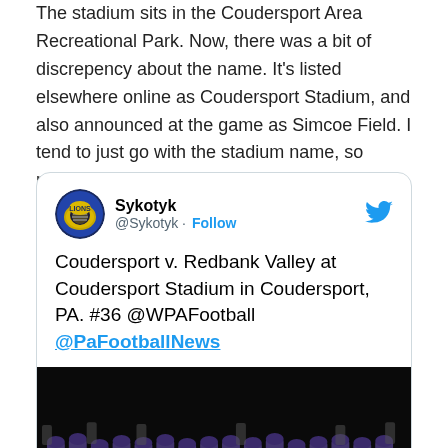The stadium sits in the Coudersport Area Recreational Park. Now, there was a bit of discrepency about the name. It's listed elsewhere online as Coudersport Stadium, and also announced at the game as Simcoe Field. I tend to just go with the stadium name, so marked it as Coudersport Stadium.
[Figure (screenshot): Embedded tweet from @Sykotyk reading: 'Coudersport v. Redbank Valley at Coudersport Stadium in Coudersport, PA. #36 @WPAFootball @PaFootballNews', with a photo of football players lined up on a field at night.]